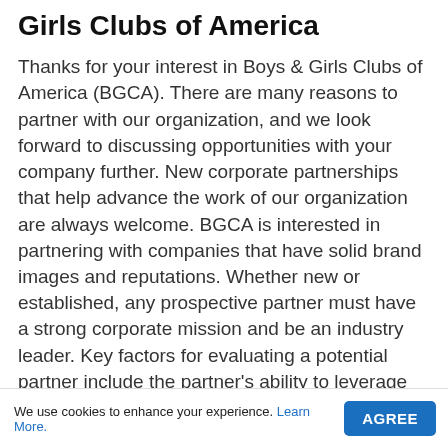Girls Clubs of America
Thanks for your interest in Boys & Girls Clubs of America (BGCA). There are many reasons to partner with our organization, and we look forward to discussing opportunities with your company further. New corporate partnerships that help advance the work of our organization are always welcome. BGCA is interested in partnering with companies that have solid brand images and reputations. Whether new or established, any prospective partner must have a strong corporate mission and be an industry leader. Key factors for evaluating a potential partner include the partner's ability to leverage its assets, raise
We use cookies to enhance your experience. Learn More.   AGREE